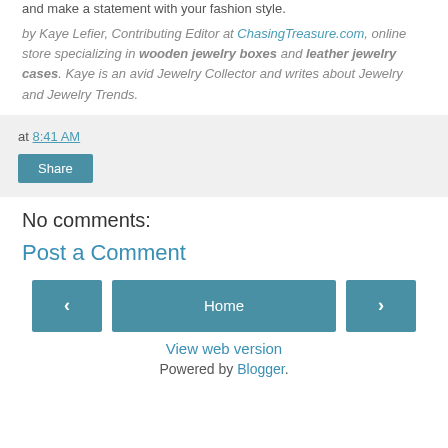and make a statement with your fashion style.
by Kaye Lefier, Contributing Editor at ChasingTreasure.com, online store specializing in wooden jewelry boxes and leather jewelry cases. Kaye is an avid Jewelry Collector and writes about Jewelry and Jewelry Trends.
at 8:41 AM
Share
No comments:
Post a Comment
‹
Home
›
View web version
Powered by Blogger.